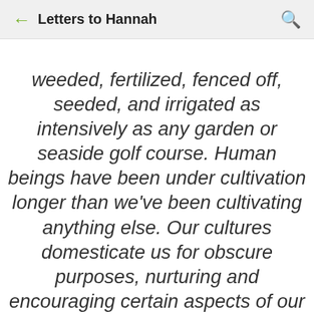Letters to Hannah
weeded, fertilized, fenced off, seeded, and irrigated as intensively as any garden or seaside golf course. Human beings have been under cultivation longer than we've been cultivating anything else. Our cultures domesticate us for obscure purposes, nurturing and encouraging certain aspects of our behavior and tendencies while seeking to eliminate those that might